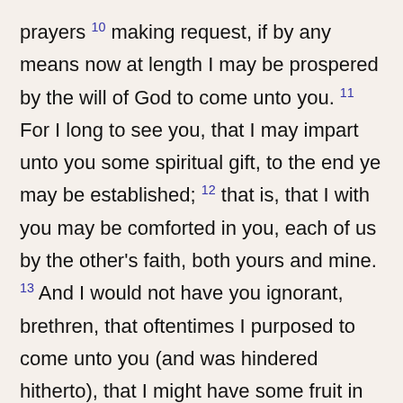prayers 10 making request, if by any means now at length I may be prospered by the will of God to come unto you. 11 For I long to see you, that I may impart unto you some spiritual gift, to the end ye may be established; 12 that is, that I with you may be comforted in you, each of us by the other's faith, both yours and mine. 13 And I would not have you ignorant, brethren, that oftentimes I purposed to come unto you (and was hindered hitherto), that I might have some fruit in you also, even as in the rest of the Gentiles. 14 I am debtor both to Greeks and to Barbarians, both to the wise and to the foolish. 15 So, as much as in me is, I am ready to preach the gospel to you also that are in Rome. 16 For I am not ashamed of the gospel: for it is the power of